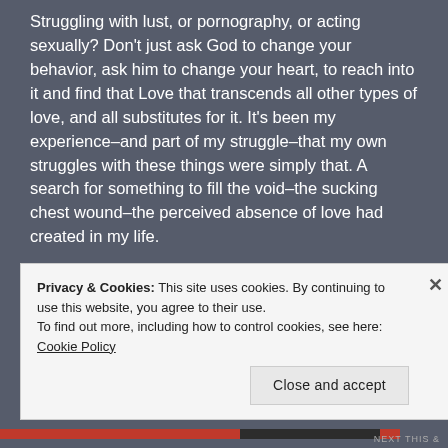Struggling with lust, or pornography, or acting sexually? Don't just ask God to change your behavior, ask him to change your heart, to reach into it and find that Love that transcends all other types of love, and all substitutes for it. It's been my experience–and part of my struggle–that my own struggles with these things were simply that. A search for something to fill the void–the sucking chest wound–the perceived absence of love had created in my life.
Privacy & Cookies: This site uses cookies. By continuing to use this website, you agree to their use.
To find out more, including how to control cookies, see here: Cookie Policy
Close and accept